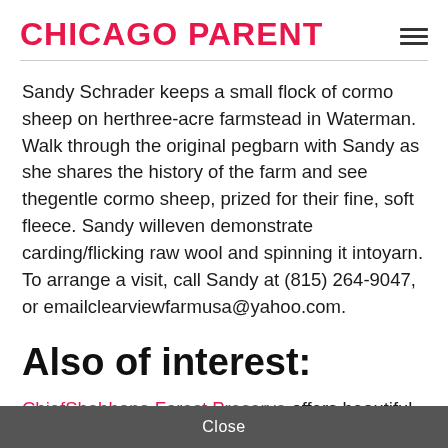CHICAGO PARENT
Sandy Schrader keeps a small flock of cormo sheep on herthree-acre farmstead in Waterman. Walk through the original pegbarn with Sandy as she shares the history of the farm and see thegentle cormo sheep, prized for their fine, soft fleece. Sandy willeven demonstrate carding/flicking raw wool and spinning it intoyarn. To arrange a visit, call Sandy at (815) 264-9047, or emailclearviewfarmusa@yahoo.com.
Also of interest:
ChiefShabbona Forest Preserve offers beautiful nature
Close